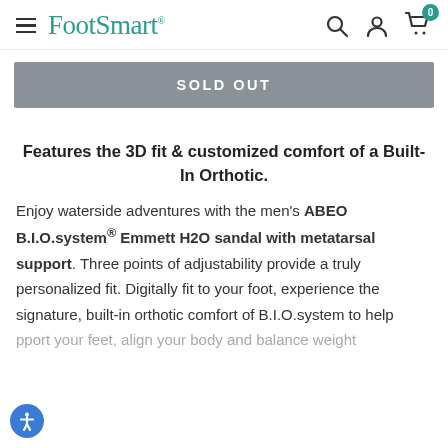FootSmart
SOLD OUT
Features the 3D fit & customized comfort of a Built-In Orthotic.
Enjoy waterside adventures with the men's ABEO B.I.O.system® Emmett H2O sandal with metatarsal support. Three points of adjustability provide a truly personalized fit. Digitally fit to your foot, experience the signature, built-in orthotic comfort of B.I.O.system to help support your feet, align your body and balance weight